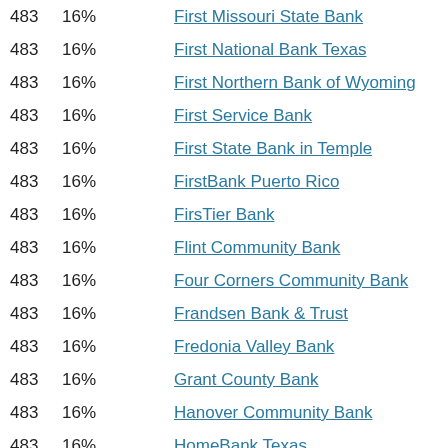| Rank | Percent | Bank Name |
| --- | --- | --- |
| 483 | 16% | First Missouri State Bank |
| 483 | 16% | First National Bank Texas |
| 483 | 16% | First Northern Bank of Wyoming |
| 483 | 16% | First Service Bank |
| 483 | 16% | First State Bank in Temple |
| 483 | 16% | FirstBank Puerto Rico |
| 483 | 16% | FirsTier Bank |
| 483 | 16% | Flint Community Bank |
| 483 | 16% | Four Corners Community Bank |
| 483 | 16% | Frandsen Bank & Trust |
| 483 | 16% | Fredonia Valley Bank |
| 483 | 16% | Grant County Bank |
| 483 | 16% | Hanover Community Bank |
| 483 | 16% | HomeBank Texas |